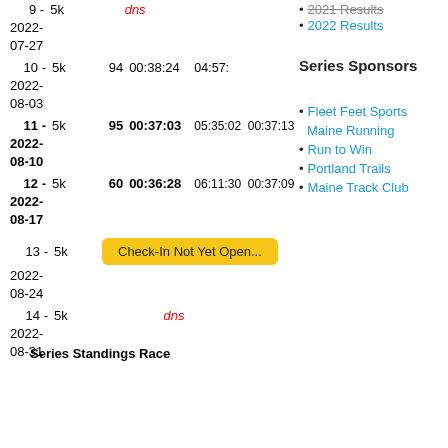| # | Dist | Bib | Time | Pace/Info |
| --- | --- | --- | --- | --- |
| 9 - | 5k |  | dns |  |
| 2022-07-27 |  |  |  |  |
| 10 - | 5k | 94 | 00:38:24 | 04:57:... |
| 2022-08-03 |  |  |  |  |
| 11 - | 5k | 95 | 00:37:03 | 05:35:02  00:37:13 |
| 2022-08-10 |  |  |  |  |
| 12 - | 5k | 60 | 00:36:28 | 06:11:30  00:37:09 |
| 2022-08-17 |  |  |  |  |
| 13 - | 5k |  | Check-In Not Yet Open... |  |
| 2022-08-24 |  |  |  |  |
| 14 - | 5k |  | dns |  |
| 2022-08-31 |  |  |  |  |
Series Sponsors
2021 Results
2022 Results
Fleet Feet Sports
Maine Running
Run to Win
Portland Trails
Maine Track Club
Series Standings Race